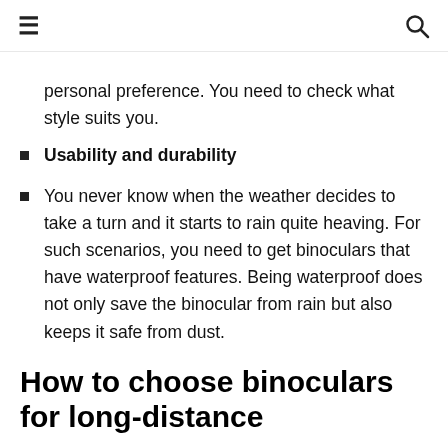☰  🔍
personal preference. You need to check what style suits you.
Usability and durability
You never know when the weather decides to take a turn and it starts to rain quite heaving. For such scenarios, you need to get binoculars that have waterproof features. Being waterproof does not only save the binocular from rain but also keeps it safe from dust.
How to choose binoculars for long-distance